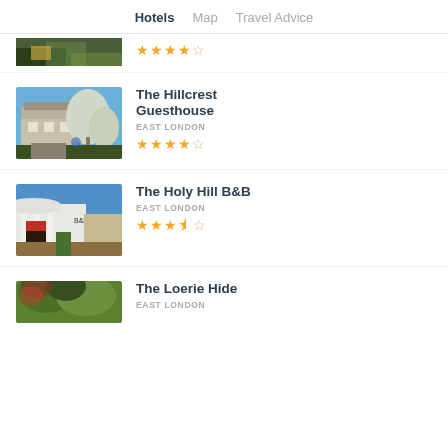Hotels  Map  Travel Advice
[Figure (photo): Partial hotel photo (cropped top) with star rating visible]
The Hillcrest Guesthouse
EAST LONDON
★★★★☆
[Figure (photo): The Hillcrest Guesthouse exterior with trees at night]
The Holy Hill B&B
EAST LONDON
★★★½☆
[Figure (photo): The Holy Hill B&B exterior building facade]
The Loerie Hide
EAST LONDON
[Figure (photo): The Loerie Hide exterior among trees]